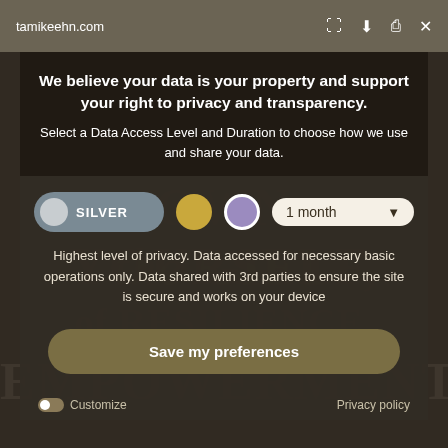tamikeehn.com
We believe your data is your property and support your right to privacy and transparency.
Select a Data Access Level and Duration to choose how we use and share your data.
SILVER | 1 month
Highest level of privacy. Data accessed for necessary basic operations only. Data shared with 3rd parties to ensure the site is secure and works on your device
Save my preferences
Customize | Privacy policy